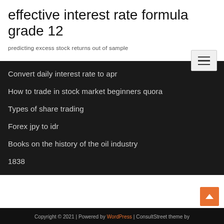effective interest rate formula grade 12
predicting excess stock returns out of sample
Convert daily interest rate to apr
How to trade in stock market beginners quora
Types of share trading
Forex jpy to idr
Books on the history of the oil industry
1838
Copyright © 2021 | Powered by WordPress | ConsultStreet theme by